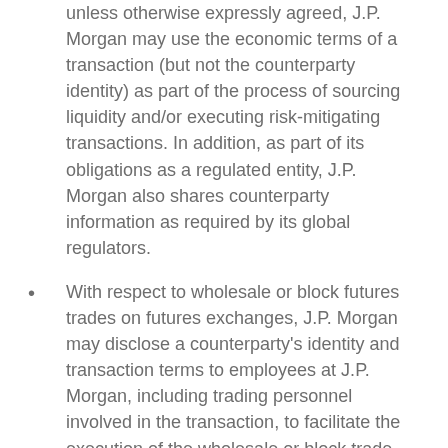unless otherwise expressly agreed, J.P. Morgan may use the economic terms of a transaction (but not the counterparty identity) as part of the process of sourcing liquidity and/or executing risk-mitigating transactions. In addition, as part of its obligations as a regulated entity, J.P. Morgan also shares counterparty information as required by its global regulators.
With respect to wholesale or block futures trades on futures exchanges, J.P. Morgan may disclose a counterparty's identity and transaction terms to employees at J.P. Morgan, including trading personnel involved in the transaction, to facilitate the execution of the wholesale or block trade, unless we expressly agree otherwise.